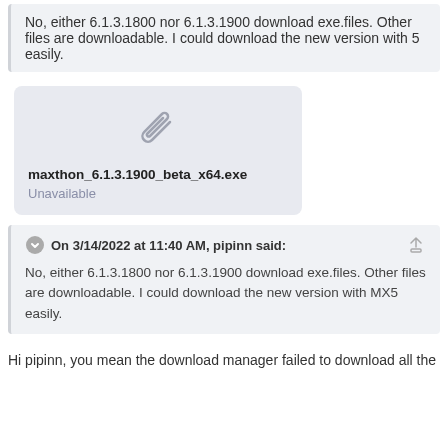No, either 6.1.3.1800 nor 6.1.3.1900 download exe.files. Other files are downloadable. I could download the new version with 5 easily.
[Figure (other): Attachment card showing a paperclip icon, filename 'maxthon_6.1.3.1900_beta_x64.exe', and status 'Unavailable']
On 3/14/2022 at 11:40 AM, pipinn said:
No, either 6.1.3.1800 nor 6.1.3.1900 download exe.files. Other files are downloadable. I could download the new version with MX5 easily.
Hi pipinn, you mean the download manager failed to download all the